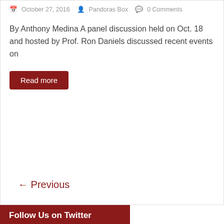October 27, 2016  Pandoras Box  0 Comments
By Anthony Medina A panel discussion held on Oct. 18 and hosted by Prof. Ron Daniels discussed recent events on
Read more
← Previous
Follow Us on Twitter
Tweets from @YorkPBNews
Follow
Pandora's Box @YorkPBNews · Jun 6
York College Senior's Photo Gallery